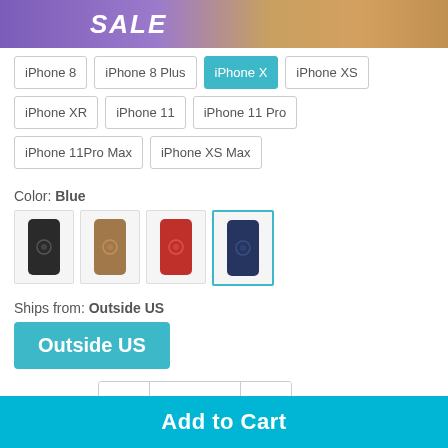[Figure (illustration): Sale banner with purple gradient background and bokeh lights, bold white italic SALE text]
iPhone 8
iPhone 8 Plus
iPhone X (selected/active)
iPhone XS
iPhone XR
iPhone 11
iPhone 11 Pro
iPhone 11Pro Max
iPhone XS Max
Color: Blue
[Figure (photo): Four phone case color swatches: black, brown/tan, red, blue (selected with teal border)]
Ships from: Outside US
Outside US (button)
Quantity: 1
Add to Cart